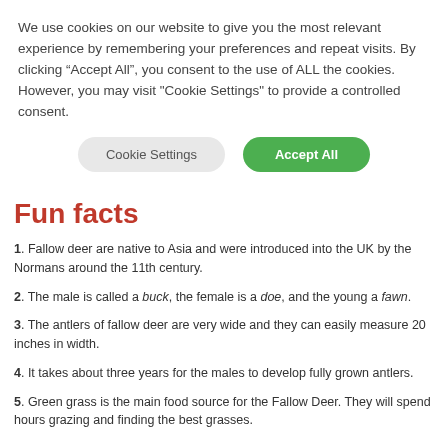We use cookies on our website to give you the most relevant experience by remembering your preferences and repeat visits. By clicking “Accept All”, you consent to the use of ALL the cookies. However, you may visit "Cookie Settings" to provide a controlled consent.
Fun facts
1. Fallow deer are native to Asia and were introduced into the UK by the Normans around the 11th century.
2. The male is called a buck, the female is a doe, and the young a fawn.
3. The antlers of fallow deer are very wide and they can easily measure 20 inches in width.
4. It takes about three years for the males to develop fully grown antlers.
5. Green grass is the main food source for the Fallow Deer. They will spend hours grazing and finding the best grasses.